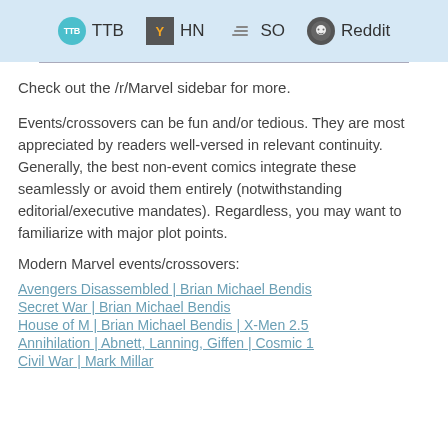TTB | HN | SO | Reddit
Check out the /r/Marvel sidebar for more.
Events/crossovers can be fun and/or tedious. They are most appreciated by readers well-versed in relevant continuity. Generally, the best non-event comics integrate these seamlessly or avoid them entirely (notwithstanding editorial/executive mandates). Regardless, you may want to familiarize with major plot points.
Modern Marvel events/crossovers:
Avengers Disassembled | Brian Michael Bendis
Secret War | Brian Michael Bendis
House of M | Brian Michael Bendis | X-Men 2.5
Annihilation | Abnett, Lanning, Giffen | Cosmic 1
Civil War | Mark Millar